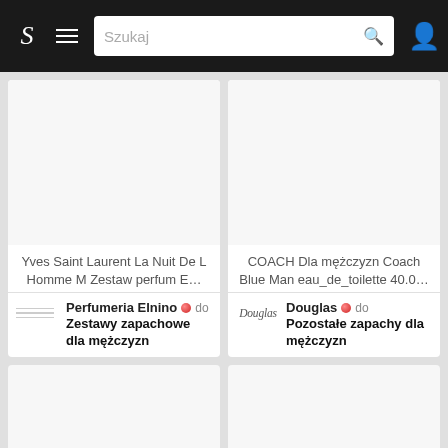S  ☰  Szukaj  🔍  👤
[Figure (screenshot): Product image area for Yves Saint Laurent La Nuit De L Homme perfume set, white background]
Yves Saint Laurent La Nuit De L Homme M Zestaw perfum E…
Perfumeria Elnino 🔴 do Zestawy zapachowe dla mężczyzn
[Figure (screenshot): Product image area for COACH Blue Man eau de toilette, white background]
COACH Dla mężczyzn Coach Blue Man eau_de_toilette 40.0…
Douglas 🔴 do Pozostałe zapachy dla mężczyzn
[Figure (screenshot): Partial product card bottom-left, image only, cut off]
[Figure (screenshot): Partial product card bottom-right, image only, cut off]